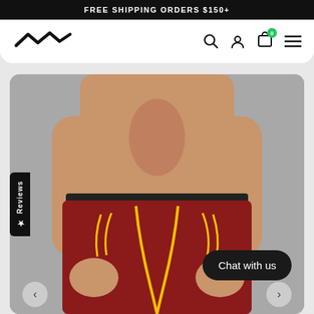FREE SHIPPING ORDERS $150+
[Figure (logo): Brand logo - lightning bolt style mark in black]
[Figure (photo): Shirtless male model wearing dark red/maroon jogger pants with yellow drawstring and yellow stripe accent details, photographed from mid-torso down against a grey background]
Reviews
Chat with us